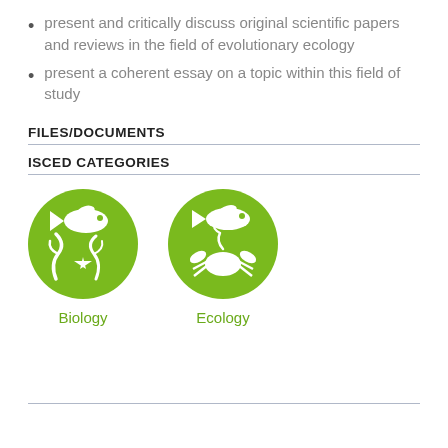present and critically discuss original scientific papers and reviews in the field of evolutionary ecology
present a coherent essay on a topic within this field of study
FILES/DOCUMENTS
ISCED CATEGORIES
[Figure (illustration): Two green circular icons: Biology (fish and sea life) and Ecology (fish, crab, and sea life), with labels below each icon.]